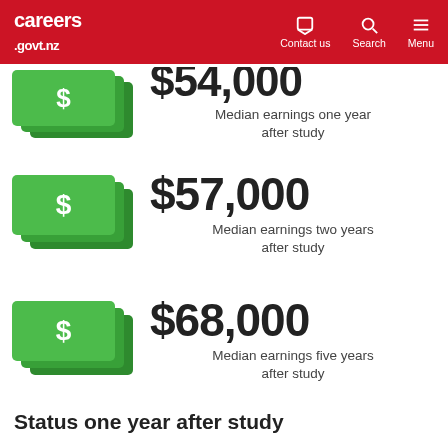careers.govt.nz — Contact us | Search | Menu
[Figure (infographic): Green dollar bill icon with $ symbol (partial view, top cropped), showing median earnings one year after study: $54,000]
$54,000
Median earnings one year after study
[Figure (infographic): Green dollar bill icon with $ symbol, showing median earnings two years after study: $57,000]
$57,000
Median earnings two years after study
[Figure (infographic): Green dollar bill icon with $ symbol, showing median earnings five years after study: $68,000]
$68,000
Median earnings five years after study
Status one year after study